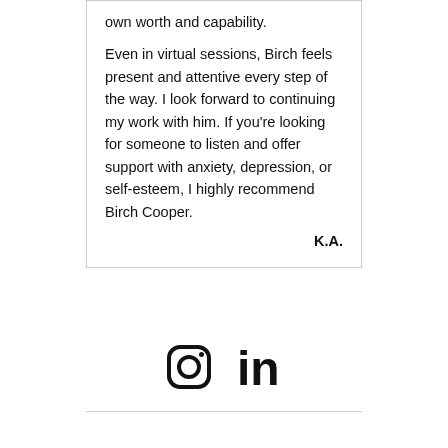own worth and capability.

Even in virtual sessions, Birch feels present and attentive every step of the way. I look forward to continuing my work with him. If you're looking for someone to listen and offer support with anxiety, depression, or self-esteem, I highly recommend Birch Cooper.

K.A.
[Figure (illustration): Instagram and LinkedIn social media icons in black]